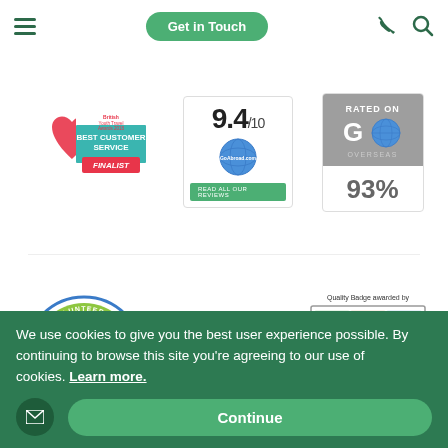Navigation bar with hamburger menu, Get in Touch button, phone icon, and search icon
[Figure (logo): British Youth Travel Awards 2018 - Best Customer Service Finalist badge with red heart logo]
[Figure (logo): GoAbroad.com rating badge showing 9.4/10 with globe logo and Read All Our Reviews button]
[Figure (logo): Go Overseas Rated On badge showing 93% rating]
[Figure (logo): Best Volunteer Abroad Program 2020 - volunteer forever circular badge]
[Figure (logo): EPA Expedition Providers Association logo with globe]
[Figure (logo): Quality Badge awarded by Council for Learning Outside the Classroom]
We use cookies to give you the best user experience possible. By continuing to browse this site you're agreeing to our use of cookies. Learn more.
Continue